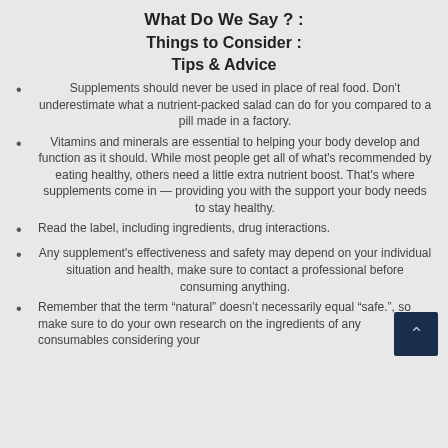What Do We Say ? :
Things to Consider :
Tips & Advice
Supplements should never be used in place of real food. Don't underestimate what a nutrient-packed salad can do for you compared to a pill made in a factory.
Vitamins and minerals are essential to helping your body develop and function as it should. While most people get all of what's recommended by eating healthy, others need a little extra nutrient boost. That's where supplements come in — providing you with the support your body needs to stay healthy.
Read the label, including ingredients, drug interactions.
Any supplement's effectiveness and safety may depend on your individual situation and health, make sure to contact a professional before consuming anything.
Remember that the term "natural" doesn't necessarily equal "safe.", so make sure to do your own research on the ingredients of any consumables considering your